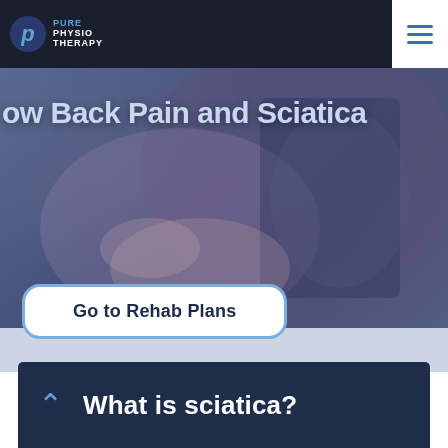[Figure (screenshot): Pure Physiotherapy logo in navigation bar — circular 'P' icon with 'PURE PHYSIO THERAPY' text]
[Figure (photo): Hero background image showing hands examining an X-ray or spine image, with a blue/purple overlay tint]
ow Back Pain and Sciatica
Go to Rehab Plans
What is sciatica?